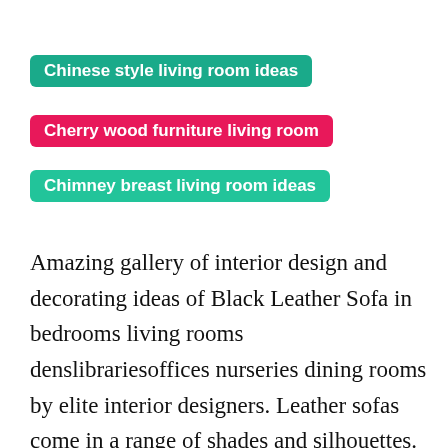Chinese style living room ideas
Cherry wood furniture living room
Chimney breast living room ideas
Amazing gallery of interior design and decorating ideas of Black Leather Sofa in bedrooms living rooms denslibrariesoffices nurseries dining rooms by elite interior designers. Leather sofas come in a range of shades and silhouettes. 40 Living Rooms with Gray Couches Photos Living Rooms Gray Photo Galleries. Dont forget to